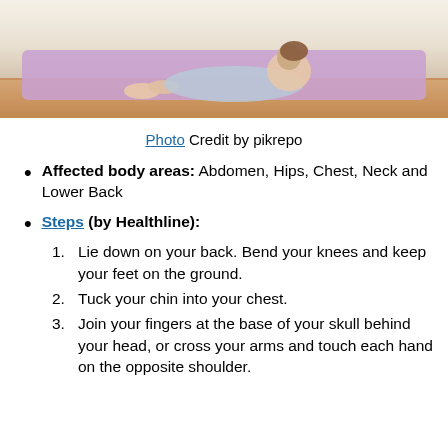[Figure (photo): Person lying on a purple yoga mat on a wooden floor, performing an exercise pose, viewed from the side.]
Photo Credit by pikrepo
Affected body areas: Abdomen, Hips, Chest, Neck and Lower Back
Steps (by Healthline):
1. Lie down on your back. Bend your knees and keep your feet on the ground.
2. Tuck your chin into your chest.
3. Join your fingers at the base of your skull behind your head, or cross your arms and touch each hand on the opposite shoulder.